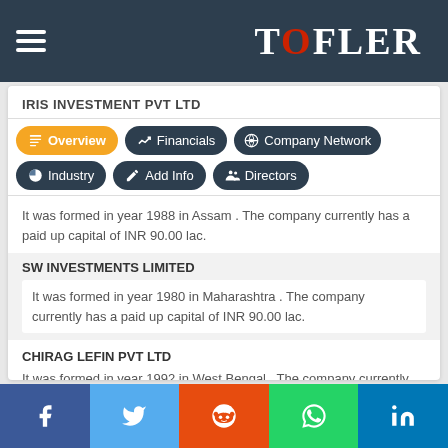TOFLER
IRIS INVESTMENT PVT LTD
It was formed in year 1988 in Assam . The company currently has a paid up capital of INR 90.00 lac.
SW INVESTMENTS LIMITED
It was formed in year 1980 in Maharashtra . The company currently has a paid up capital of INR 90.00 lac.
CHIRAG LEFIN PVT LTD
It was formed in year 1992 in West Bengal . The company currently has a paid up capital of INR 90.00 lac.
See more...